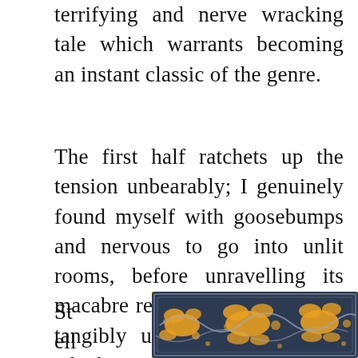terrifying and nerve wracking tale which warrants becoming an instant classic of the genre.
The first half ratchets up the tension unbearably; I genuinely found myself with goosebumps and nervous to go into unlit rooms, before unravelling its macabre revelations. It creates a tangibly unsettling atmosphere which, even with a satisfying ending, stays with you long after the book closes.
Stella
[Figure (photo): Close-up photograph of a book cover or decorative surface with an orange/gold floral and scrollwork pattern on a dark navy/charcoal background, placed on an orange surface.]